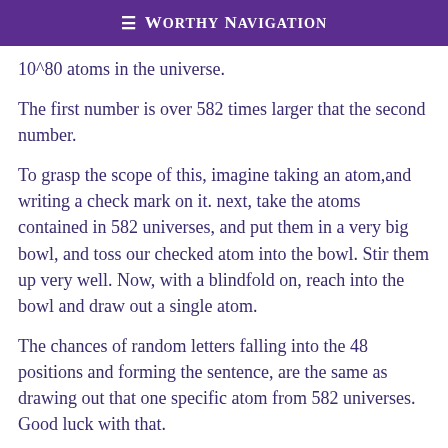≡ Worthy Navigation
10^80 atoms in the universe.
The first number is over 582 times larger that the second number.
To grasp the scope of this, imagine taking an atom,and writing a check mark on it. next, take the atoms contained in 582 universes, and put them in a very big bowl, and toss our checked atom into the bowl. Stir them up very well. Now, with a blindfold on, reach into the bowl and draw out a single atom.
The chances of random letters falling into the 48 positions and forming the sentence, are the same as drawing out that one specific atom from 582 universes. Good luck with that.